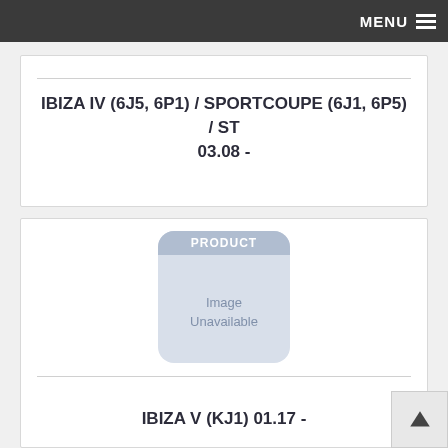MENU
IBIZA IV (6J5, 6P1) / SPORTCOUPE (6J1, 6P5) / ST 03.08 -
[Figure (other): Product Image Unavailable placeholder for IBIZA V (KJ1)]
IBIZA V (KJ1) 01.17 -
[Figure (other): Product Image Unavailable placeholder for next product]